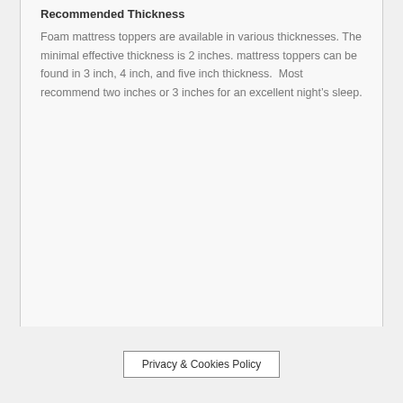Recommended Thickness
Foam mattress toppers are available in various thicknesses. The minimal effective thickness is 2 inches. mattress toppers can be found in 3 inch, 4 inch, and five inch thickness.  Most recommend two inches or 3 inches for an excellent night’s sleep.
Privacy & Cookies Policy